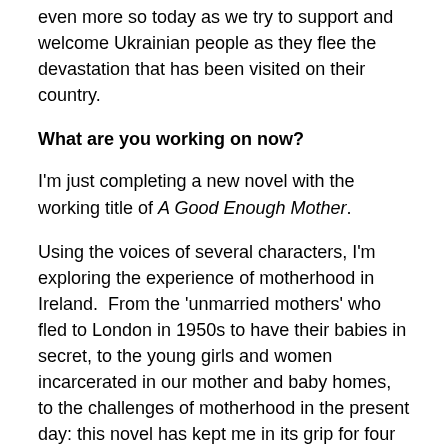even more so today as we try to support and welcome Ukrainian people as they flee the devastation that has been visited on their country.
What are you working on now?
I'm just completing a new novel with the working title of A Good Enough Mother.
Using the voices of several characters, I'm exploring the experience of motherhood in Ireland.  From the 'unmarried mothers' who fled to London in 1950s to have their babies in secret, to the young girls and women incarcerated in our mother and baby homes, to the challenges of motherhood in the present day: this novel has kept me in its grip for four years now.
During the lockdowns, it was the project that kept me